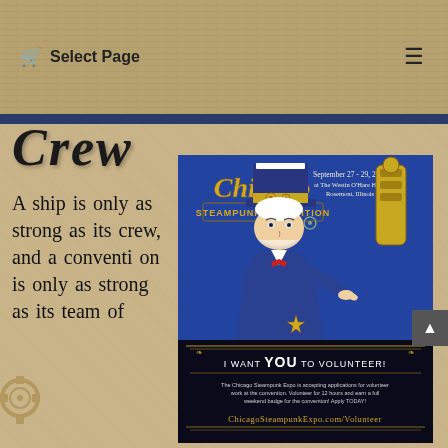🛒 Select Page  ☰
Crew
A ship is only as strong as its crew, and a convention is only as strong as its team of
[Figure (illustration): Chicago Steampunk Exposition volunteer recruitment poster. Features a steampunk Uncle Sam figure pointing at the viewer. Text reads: 'September 27-29, 2019 at The Westin O'Hare Hotel Rosemont, Illinois', 'CHICAGO Steampunk Exposition', 'I WANT YOU TO VOLUNTEER!', 'The Chicago Steampunk Expo is accepting applications for volunteer work at the convention. Volunteer for 12 hours and earn a full weekend badge for the convention! Apply TODAY!', 'ChicagoSteampunkExpo.com/Volunteer']